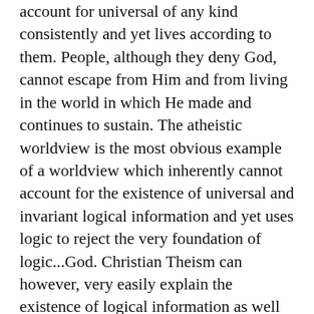account for universal of any kind consistently and yet lives according to them. People, although they deny God, cannot escape from Him and from living in the world in which He made and continues to sustain. The atheistic worldview is the most obvious example of a worldview which inherently cannot account for the existence of universal and invariant logical information and yet uses logic to reject the very foundation of logic...God. Christian Theism can however, very easily explain the existence of logical information as well as other universal truths. You continue to use words like “rational” but you have no reason to be rational because your worldview is fundamentally irrational. I would challenge you to stop using or talking about concepts like logic and reason until you can explain them without invoking the very point the...